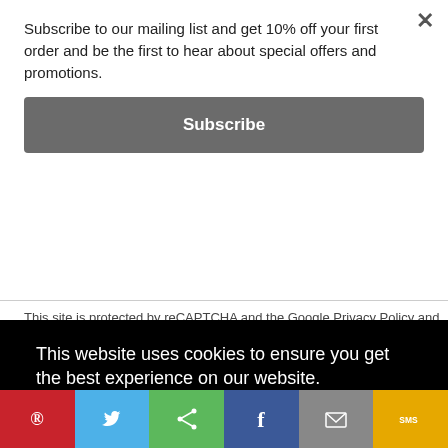Subscribe to our mailing list and get 10% off your first order and be the first to hear about special offers and promotions.
Subscribe
This site is protected by reCAPTCHA and the Google Privacy Policy and Terms of Service apply.
This website uses cookies to ensure you get the best experience on our website.
Learn more
Got it!
[Figure (infographic): Social share bar with Pinterest, Twitter, Share, Facebook, Email, and SMS icons]